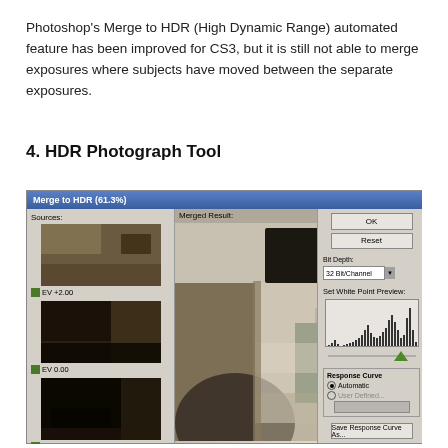Photoshop's Merge to HDR (High Dynamic Range) automated feature has been improved for CS3, but it is still not able to merge exposures where subjects have moved between the separate exposures.
4. HDR Photograph Tool
[Figure (screenshot): Screenshot of Photoshop's Merge to HDR dialog at 61.3% zoom. Left panel shows Sources with three thumbnail images labeled EV +2.00, EV 0.00, and EV -2.00. Center panel shows Merged Result with a photograph taken from inside a vehicle. Right panel has OK and Reset buttons, Bit Depth dropdown set to 32 Bit/Channel, Set White Point Preview histogram, Response Curve section with Automatic radio button selected, and Save Response Curve As button.]